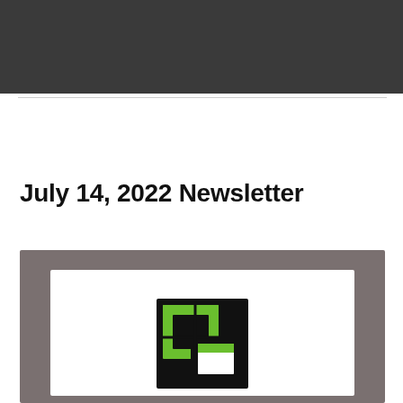JULY 14, 2022  |  BY FIRST SOUTHERN BAPTIST CHURCH
July 14, 2022 Newsletter
[Figure (logo): First Southern Baptist Church logo — green and black nested squares/rectangles on white background within a grey image block]